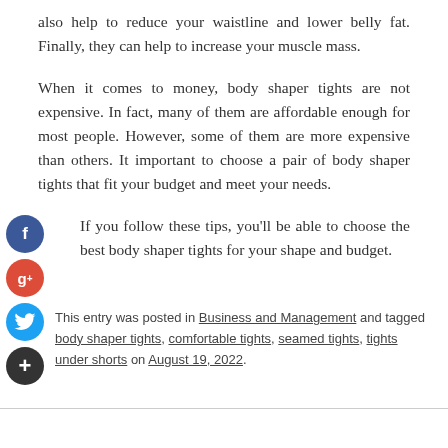also help to reduce your waistline and lower belly fat. Finally, they can help to increase your muscle mass.
When it comes to money, body shaper tights are not expensive. In fact, many of them are affordable enough for most people. However, some of them are more expensive than others. It important to choose a pair of body shaper tights that fit your budget and meet your needs.
If you follow these tips, you'll be able to choose the best body shaper tights for your shape and budget.
This entry was posted in Business and Management and tagged body shaper tights, comfortable tights, seamed tights, tights under shorts on August 19, 2022.